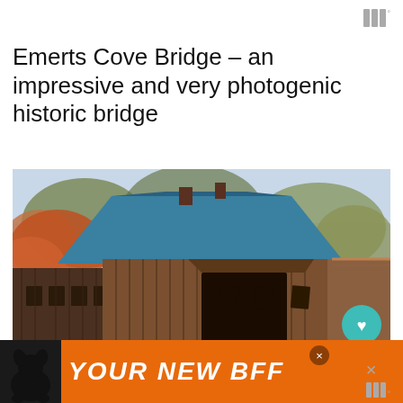w°
Emerts Cove Bridge – an impressive and very photogenic historic bridge
[Figure (photo): Photograph of Emerts Cove Bridge, a historic covered wooden bridge with dark brown vertical wood siding and a blue-green metal roof, surrounded by autumn trees with orange and green foliage. A wooden railing leads into the covered bridge tunnel. A heart/like button (teal circle with heart icon) and share count '29' and share button are overlaid on the right side.]
[Figure (infographic): Orange advertisement banner at the bottom of the page showing a black dog silhouette on the left and the text 'YOUR NEW BFF' in large bold italic white letters. A close button (X) is visible. A second watermark logo (w°) appears at bottom right outside the ad.]